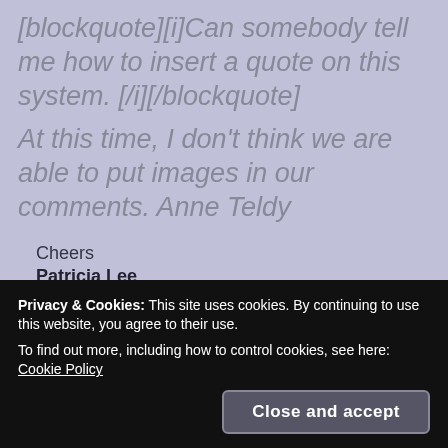[blockquote][i]Can somebody tell me how to insert a quote on this system. [/i][/blockquote]
At this time, I don't think we are able to put images in our comments. Anne Teldy
Cheers
Patricia Lee
Loading...
Privacy & Cookies: This site uses cookies. By continuing to use this website, you agree to their use.
To find out more, including how to control cookies, see here: Cookie Policy
Close and accept